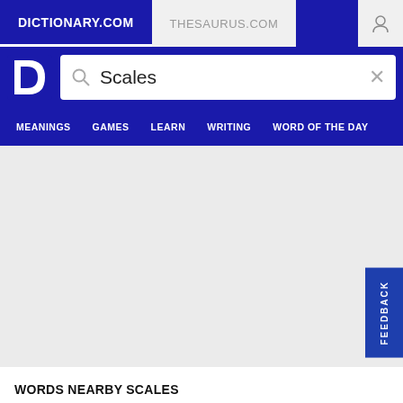DICTIONARY.COM | THESAURUS.COM
[Figure (screenshot): Dictionary.com logo — white D in a blue shield shape]
Scales
MEANINGS  GAMES  LEARN  WRITING  WORD OF THE DAY
WORDS NEARBY SCALES
scalenotomy, scalenus, scalenus anterior